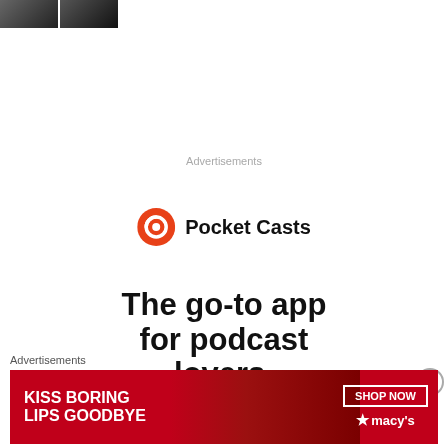[Figure (photo): Two small thumbnail photos of people at the top left]
Advertisements
[Figure (logo): Pocket Casts logo: red circular icon with headphone symbol and text 'Pocket Casts']
The go-to app for podcast lovers.
[Figure (illustration): Close button X circle icon on right side]
Advertisements
[Figure (photo): Macy's advertisement banner: 'KISS BORING LIPS GOODBYE' with woman photo, SHOP NOW button and Macy's star logo]